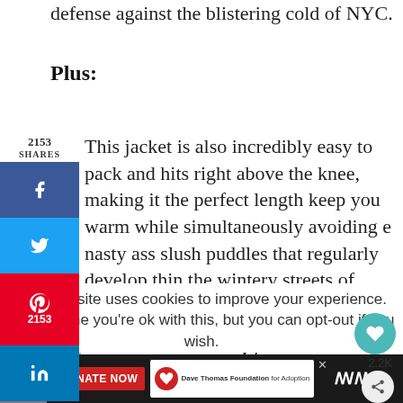defense against the blistering cold of NYC.
Plus:
This jacket is also incredibly easy to pack and hits right above the knee, making it the perfect length keep you warm while simultaneously avoiding e nasty ass slush puddles that regularly develop thin the wintery streets of NYC.
[Figure (infographic): Social media sharing sidebar with Facebook, Twitter, Pinterest (2153), and LinkedIn buttons. Shows 2153 shares label at top.]
[Figure (screenshot): Advertisement banner: 'From Hello to Help, 211 is Here' with close button]
This website uses cookies to improve your experience. We assume you're ok with this, but you can opt-out if you wish.
[Figure (infographic): Bottom ad bar with boy photo, red DONATE NOW button, Dave Thomas Foundation for Adoption logo, close X, and WW logo]